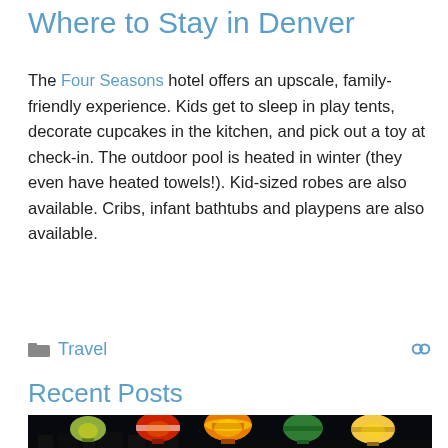Where to Stay in Denver
The Four Seasons hotel offers an upscale, family-friendly experience. Kids get to sleep in play tents, decorate cupcakes in the kitchen, and pick out a toy at check-in. The outdoor pool is heated in winter (they even have heated towels!). Kid-sized robes are also available. Cribs, infant bathtubs and playpens are also available.
Travel
Recent Posts
[Figure (photo): Night photo of illuminated colorful hot air balloons glowing against a dark sky]